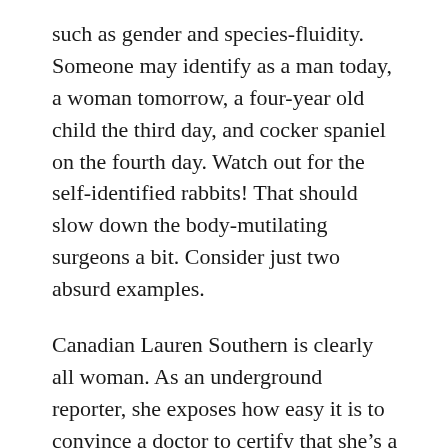such as gender and species-fluidity. Someone may identify as a man today, a woman tomorrow, a four-year old child the third day, and cocker spaniel on the fourth day. Watch out for the self-identified rabbits! That should slow down the body-mutilating surgeons a bit. Consider just two absurd examples.
Canadian Lauren Southern is clearly all woman. As an underground reporter, she exposes how easy it is to convince a doctor to certify that she’s a man. Using the doctor’s letter, she visits a government agency and obtains a government ID card legally declaring that she’s a man. Finally, Lauren exposes the disastrous cultural repercussions of such idiocy. Refer to “Lauren Southern Becomes a Man”